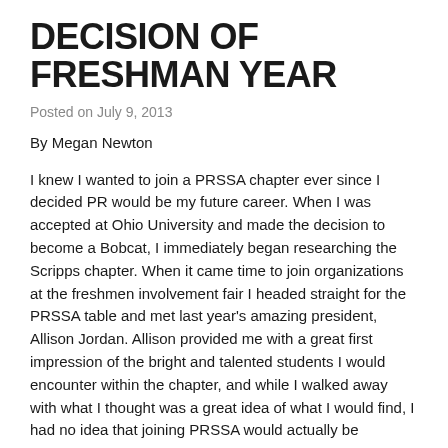DECISION OF FRESHMAN YEAR
Posted on July 9, 2013
By Megan Newton
I knew I wanted to join a PRSSA chapter ever since I decided PR would be my future career. When I was accepted at Ohio University and made the decision to become a Bobcat, I immediately began researching the Scripps chapter. When it came time to join organizations at the freshmen involvement fair I headed straight for the PRSSA table and met last year's amazing president, Allison Jordan. Allison provided me with a great first impression of the bright and talented students I would encounter within the chapter, and while I walked away with what I thought was a great idea of what I would find, I had no idea that joining PRSSA would actually be